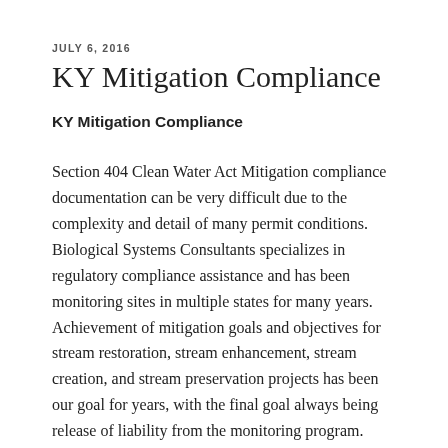JULY 6, 2016
KY Mitigation Compliance
KY Mitigation Compliance
Section 404 Clean Water Act Mitigation compliance documentation can be very difficult due to the complexity and detail of many permit conditions. Biological Systems Consultants specializes in regulatory compliance assistance and has been monitoring sites in multiple states for many years. Achievement of mitigation goals and objectives for stream restoration, stream enhancement, stream creation, and stream preservation projects has been our goal for years, with the final goal always being release of liability from the monitoring program. Biological Systems Consultants has been able to achieve these goals for their clients. Biological Systems Consultants' stream mitigation